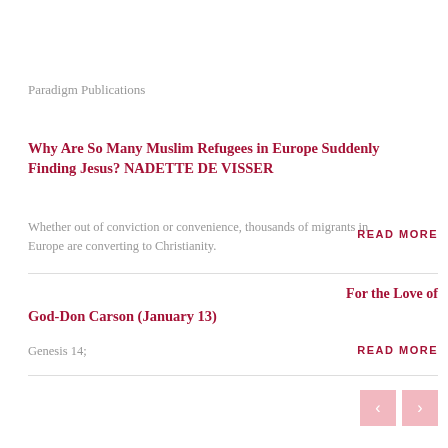Paradigm Publications
Why Are So Many Muslim Refugees in Europe Suddenly Finding Jesus? NADETTE DE VISSER
Whether out of conviction or convenience, thousands of migrants in Europe are converting to Christianity.
READ MORE
For the Love of
God-Don Carson (January 13)
Genesis 14;
READ MORE